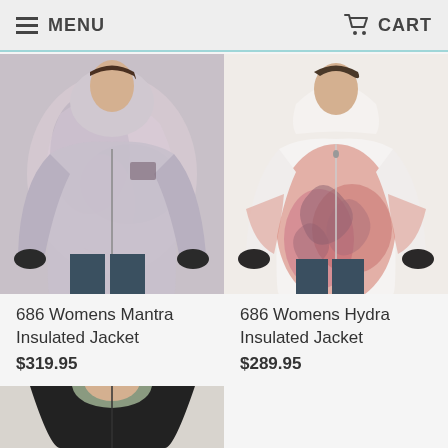MENU   CART
[Figure (photo): 686 Womens Mantra Insulated Jacket - woman wearing tie-dye pattern ski jacket in pink/grey tones with dark pants]
686 Womens Mantra Insulated Jacket
$319.95
[Figure (photo): 686 Womens Hydra Insulated Jacket - woman wearing white jacket with pink/rose floral gradient print]
686 Womens Hydra Insulated Jacket
$289.95
[Figure (photo): Partial view of a third jacket product - woman wearing dark jacket with sage/green collar]